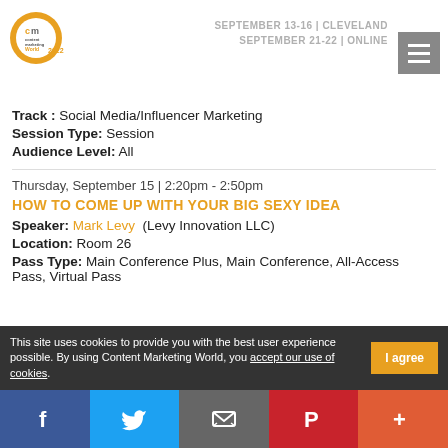[Figure (logo): Content Marketing World 2022 logo with orange/gold circle icon and text]
SEPTEMBER 13-16 | CLEVELAND
SEPTEMBER 21-22 | ONLINE
[Figure (other): Hamburger menu button (three horizontal lines on gray background)]
Track : Social Media/Influencer Marketing
Session Type: Session
Audience Level: All
Thursday, September 15 | 2:20pm - 2:50pm
HOW TO COME UP WITH YOUR BIG SEXY IDEA
Speaker: Mark Levy  (Levy Innovation LLC)
Location: Room 26
Pass Type: Main Conference Plus, Main Conference, All-Access Pass, Virtual Pass
This site uses cookies to provide you with the best user experience possible. By using Content Marketing World, you accept our use of cookies.
[Figure (other): Social media share bar with Facebook, Twitter, Email, Pinterest, and Plus buttons]